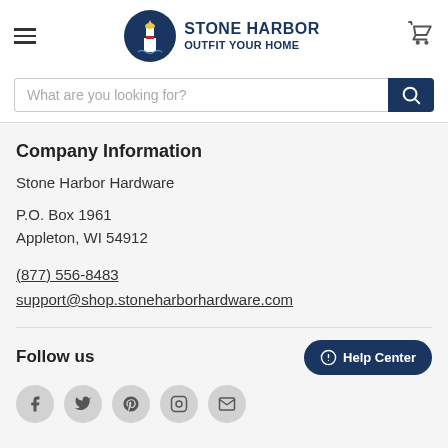Stone Harbor — Outfit Your Home
What are you looking for?
Company Information
Stone Harbor Hardware
P.O. Box 1961
Appleton, WI 54912
(877) 556-8483
support@shop.stoneharborhardware.com
Follow us
Help Center